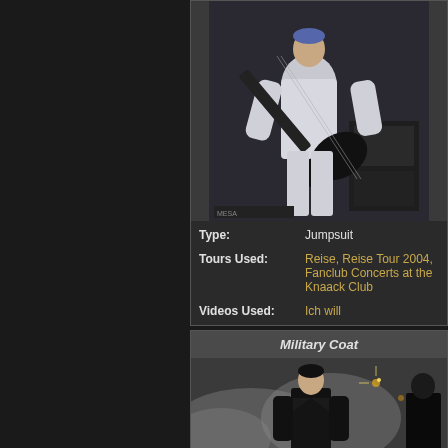[Figure (photo): Man in white jumpsuit playing a black electric guitar on stage]
| Type: | Jumpsuit |
| Tours Used: | Reise, Reise Tour 2004, Fanclub Concerts at the Knaack Club |
| Videos Used: | Ich will |
Military Coat
[Figure (photo): Person in black military coat on stage with smoke/fog in background]